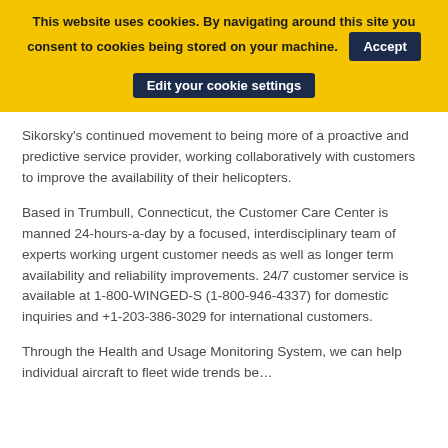This website uses cookies. By navigating around this site you consent to cookies being stored on your machine. Accept Edit your cookie settings
Sikorsky's continued movement to being more of a proactive and predictive service provider, working collaboratively with customers to improve the availability of their helicopters.
Based in Trumbull, Connecticut, the Customer Care Center is manned 24-hours-a-day by a focused, interdisciplinary team of experts working urgent customer needs as well as longer term availability and reliability improvements. 24/7 customer service is available at 1-800-WINGED-S (1-800-946-4337) for domestic inquiries and +1-203-386-3029 for international customers.
Through the Health and Usage Monitoring System, we can help individual aircraft to fleet wide trends be…